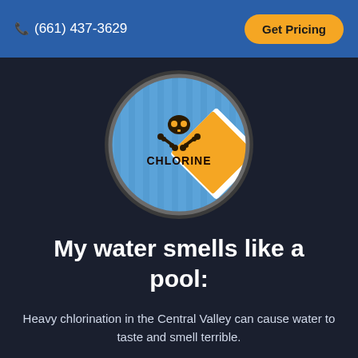(661) 437-3629  Get Pricing
[Figure (illustration): Circular icon with blue background showing a yellow diamond-shaped hazard warning sign with a skull-and-crossbones symbol above the word CHLORINE]
My water smells like a pool:
Heavy chlorination in the Central Valley can cause water to taste and smell terrible.